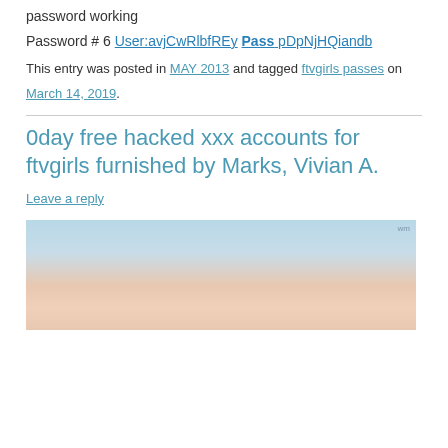password working
Password # 6 User:avjCwRlbfREy Pass pDpNjHQiandb
This entry was posted in MAY 2013 and tagged ftvgirls passes on March 14, 2019.
0day free hacked xxx accounts for ftvgirls furnished by Marks, Vivian A.
Leave a reply
[Figure (photo): Partial photo of a person, blurred/cropped, light blue background]